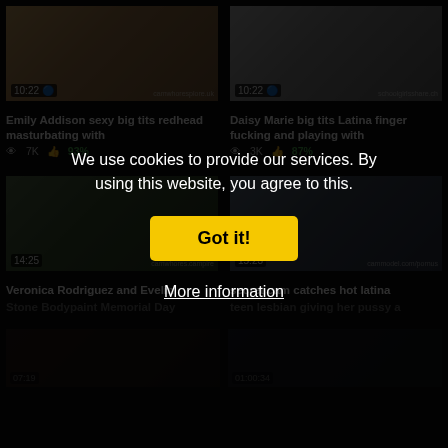[Figure (screenshot): Video thumbnail top-left with duration 10:22 and watermark]
Emily Addison sexy big tits redhead masturbating with
7K  93%
[Figure (screenshot): Video thumbnail top-right with duration 10:22 and watermark]
Daisy Marie big tits Latina finger fucking and playing with
3K  87%
[Figure (screenshot): Video thumbnail bottom-left with duration 14:25 and watermark]
Veronica Rodriguez and Evelin
Stone Bodypaint Memorial Day
[Figure (screenshot): Video thumbnail bottom-right with duration 15:23 and watermark]
secret cam catches hot latina
teen lesbian giving her pussy a
We use cookies to provide our services. By using this website, you agree to this.
Got it!
More information